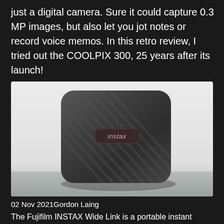just a digital camera. Sure it could capture 0.3 MP images, but also let you jot notes or record voice memos. In this retro review, I tried out the COOLPIX 300, 25 years after its launch!
[Figure (photo): Photo of a Fujifilm Instax Wide Link portable instant photo printer — a square dark grey device with diagonal ribbed texture pattern and an 'instax' label badge in the center, sitting on a surface with a light/white background.]
02 Nov 2021Gordon Laing
The Fujifilm INSTAX Wide Link is a portable instant photo